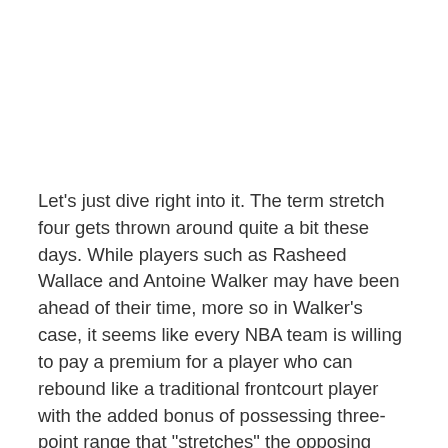Let's just dive right into it. The term stretch four gets thrown around quite a bit these days. While players such as Rasheed Wallace and Antoine Walker may have been ahead of their time, more so in Walker's case, it seems like every NBA team is willing to pay a premium for a player who can rebound like a traditional frontcourt player with the added bonus of possessing three-point range that "stretches" the opposing defense.
Through three seasons, Pittsburgh Panthers fans have